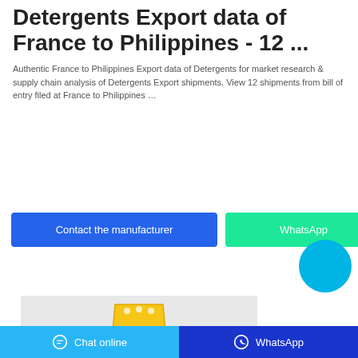Detergents Export data of France to Philippines - 12 ...
Authentic France to Philippines Export data of Detergents for market research & supply chain analysis of Detergents Export shipments. View 12 shipments from bill of entry filed at France to Philippines …
[Figure (other): Blue button labeled 'Contact the manufacturer' and green button labeled 'WhatsApp', with a cyan circular button on the right]
[Figure (photo): Yellow detergent powder bag product image on grey background]
Chat online   WhatsApp